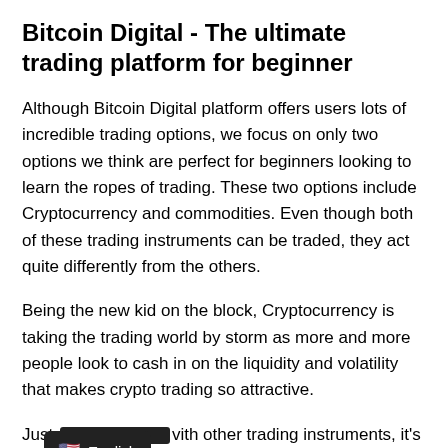Bitcoin Digital - The ultimate trading platform for beginner
Although Bitcoin Digital platform offers users lots of incredible trading options, we focus on only two options we think are perfect for beginners looking to learn the ropes of trading. These two options include Cryptocurrency and commodities. Even though both of these trading instruments can be traded, they act quite differently from the others.
Being the new kid on the block, Cryptocurrency is taking the trading world by storm as more and more people look to cash in on the liquidity and volatility that makes crypto trading so attractive.
Just like with other trading instruments, it's crucial to view currency like other types of currencies, let's say